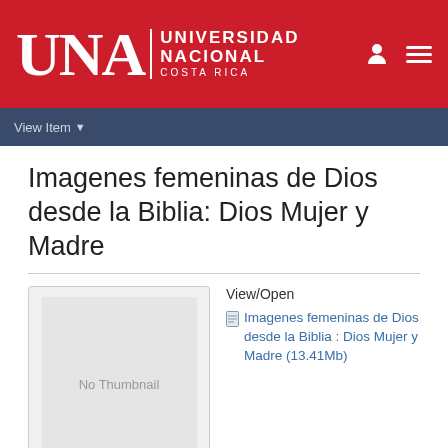[Figure (logo): Universidad Nacional Costa Rica logo — white UNA letters with university name text on red background]
View Item
Imagenes femeninas de Dios desde la Biblia: Dios Mujer y Madre
[Figure (other): No Thumbnail placeholder image box]
View/Open
Imagenes femeninas de Dios desde la Biblia : Dios Mujer y Madre (13.41Mb)
Date
1997